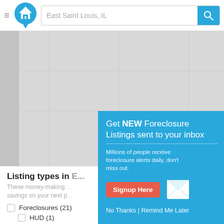[Figure (screenshot): Navigation header with hamburger menu, home logo, search bar showing 'East Saint Louis, IL', and blue search button with magnifying glass icon]
[Figure (other): Gray map area placeholder showing a map of East Saint Louis, IL]
Listing types in ...
These money-making ... savings on your next p...
Foreclosures (21)
HUD (1)
[Figure (other): Teal popup overlay with heading 'Get NEW Foreclosure Listings sent to your inbox', subtext 'Millions of people receive foreclosure alerts daily, don't miss out.', red 'Signup Here' button, white envelope mail icon, and links 'No Thanks | Remind Me Later']